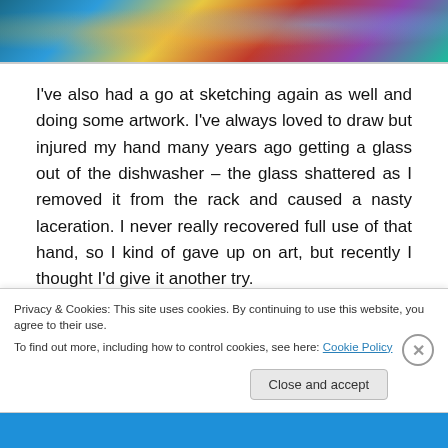[Figure (photo): Top portion of a photograph showing a person in sunglasses with colorful city lights in the background]
I've also had a go at sketching again as well and doing some artwork. I've always loved to draw but injured my hand many years ago getting a glass out of the dishwasher – the glass shattered as I removed it from the rack and caused a nasty laceration. I never really recovered full use of that hand, so I kind of gave up on art, but recently I thought I'd give it another try.
[Figure (illustration): Two sketch images side by side: a circular sketch on the left and a black and white detailed sketch on the right]
Privacy & Cookies: This site uses cookies. By continuing to use this website, you agree to their use.
To find out more, including how to control cookies, see here: Cookie Policy
Close and accept